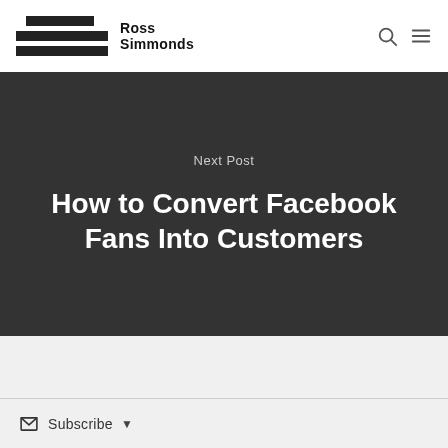Ross Simmonds
Next Post
How to Convert Facebook Fans Into Customers
Subscribe